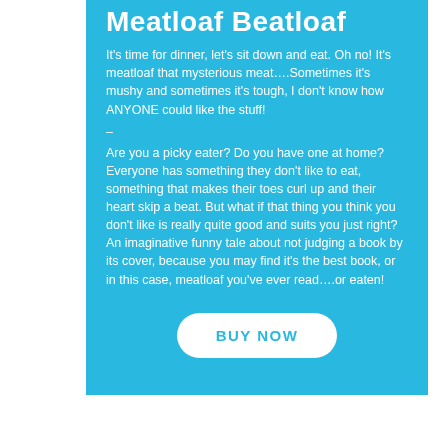Meatloaf Beatloaf
It's time for dinner, let's sit down and eat. Oh no! It's meatloaf that mysterious meat….Sometimes it's mushy and sometimes it's tough, I don't know how ANYONE could like the stuff!
-
Are you a picky eater? Do you have one at home?
Everyone has something they don't like to eat, something that makes their toes curl up and their heart skip a beat. But what if that thing you think you don't like is really quite good and suits you just right? An imaginative funny tale about not judging a book by its cover, because you may find it's the best book, or in this case, meatloaf you've ever read….or eaten!
BUY NOW